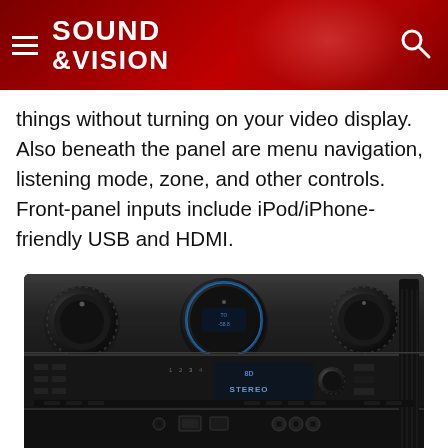SOUND &VISION
things without turning on your video display. Also beneath the panel are menu navigation, listening mode, zone, and other controls. Front-panel inputs include iPod/iPhone-friendly USB and HDMI.
[Figure (photo): Marantz AV receiver showing front panel with large control knobs, display showing 'BD STEREO', USB and HDMI ports on the front panel]
On the back panel, the AVR's seven channels are